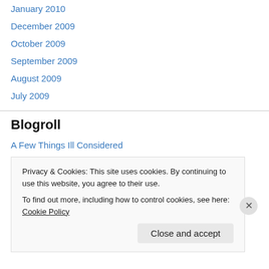January 2010
December 2009
October 2009
September 2009
August 2009
July 2009
Blogroll
A Few Things Ill Considered
AGW Observer
Clear Climate Code
Climate Change Ireland
Privacy & Cookies: This site uses cookies. By continuing to use this website, you agree to their use.
To find out more, including how to control cookies, see here: Cookie Policy
Close and accept